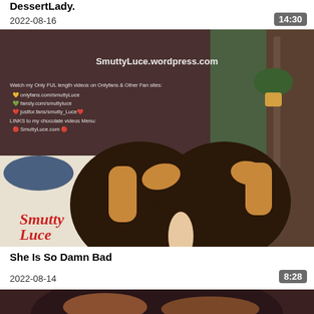DessertLady.
2022-08-16
14:30
[Figure (screenshot): Video thumbnail showing SmuttyLuce.wordpress.com watermark and Smutty Luce logo]
She Is So Damn Bad
2022-08-14
8:28
[Figure (screenshot): Partial video thumbnail at bottom of page]